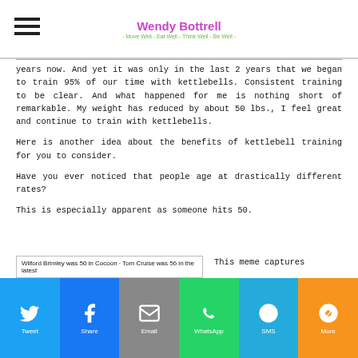Wendy Bottrell
- Move Well - Eat Well - Think Well - Be Well -
years now. And yet it was only in the last 2 years that we began to train 95% of our time with kettlebells. Consistent training to be clear. And what happened for me is nothing short of remarkable. My weight has reduced by about 50 lbs., I feel great and continue to train with kettlebells.
Here is another idea about the benefits of kettlebell training for you to consider.
Have you ever noticed that people age at drastically different rates?
This is especially apparent as someone hits 50.
This meme captures
[Figure (screenshot): A meme box showing text: Wilford Brimley was 50 in Cocoon - Tom Cruise was 56 in the latest...]
Social share bar: Twitter, Facebook, Email, WhatsApp, SMS, More